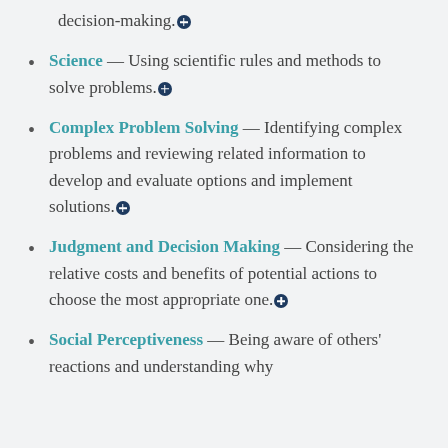decision-making.+
Science — Using scientific rules and methods to solve problems.+
Complex Problem Solving — Identifying complex problems and reviewing related information to develop and evaluate options and implement solutions.+
Judgment and Decision Making — Considering the relative costs and benefits of potential actions to choose the most appropriate one.+
Social Perceptiveness — Being aware of others' reactions and understanding why...